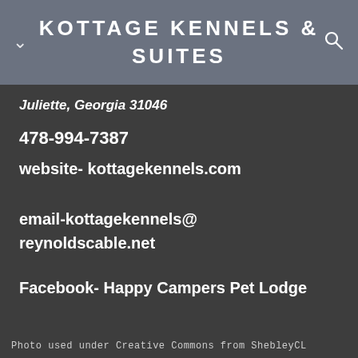KOTTAGE KENNELS & SUITES
Juliette, Georgia 31046
478-994-7387
website- kottagekennels.com
email-kottagekennels@
reynoldscable.net
Facebook- Happy Campers Pet Lodge
Photo used under Creative Commons from ShebleyCL